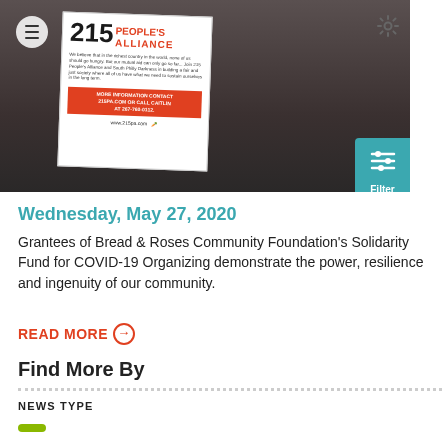[Figure (photo): A man wearing a surgical mask holds up a flyer for 215 People's Alliance outdoor COVID-19 organizing, with a brick building background.]
Wednesday, May 27, 2020
Grantees of Bread & Roses Community Foundation's Solidarity Fund for COVID-19 Organizing demonstrate the power, resilience and ingenuity of our community.
READ MORE →
Find More By
NEWS TYPE